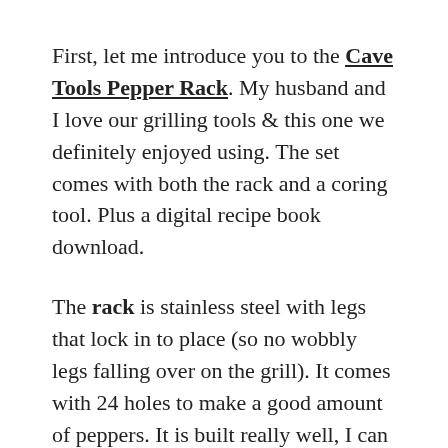First, let me introduce you to the Cave Tools Pepper Rack. My husband and I love our grilling tools & this one we definitely enjoyed using. The set comes with both the rack and a coring tool. Plus a digital recipe book download.
The rack is stainless steel with legs that lock in to place (so no wobbly legs falling over on the grill). It comes with 24 holes to make a good amount of peppers. It is built really well, I can tell you that.
The peppers don't stick and are easy to remove, which likely wouldn't be the case